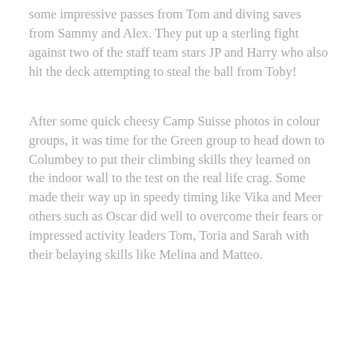some impressive passes from Tom and diving saves from Sammy and Alex. They put up a sterling fight against two of the staff team stars JP and Harry who also hit the deck attempting to steal the ball from Toby!
After some quick cheesy Camp Suisse photos in colour groups, it was time for the Green group to head down to Columbey to put their climbing skills they learned on the indoor wall to the test on the real life crag. Some made their way up in speedy timing like Vika and Meer others such as Oscar did well to overcome their fears or impressed activity leaders Tom, Toria and Sarah with their belaying skills like Melina and Matteo.